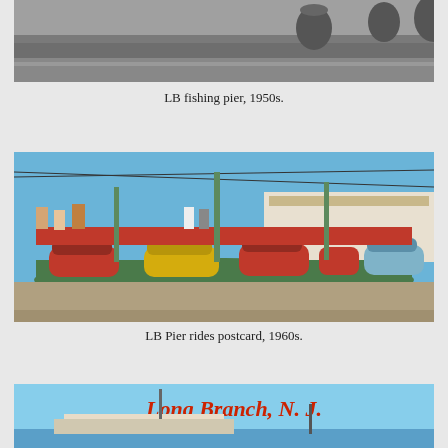[Figure (photo): Black and white photograph of people at Long Branch fishing pier, 1950s]
LB fishing pier, 1950s.
[Figure (photo): Color photograph/postcard of Long Branch Pier rides with bumper cars in foreground and boardwalk buildings in background, 1960s]
LB Pier rides postcard, 1960s.
[Figure (photo): Color postcard of Long Branch, N.J. showing pier and waterfront with 'Long Branch, N.J.' text in red script overlay]